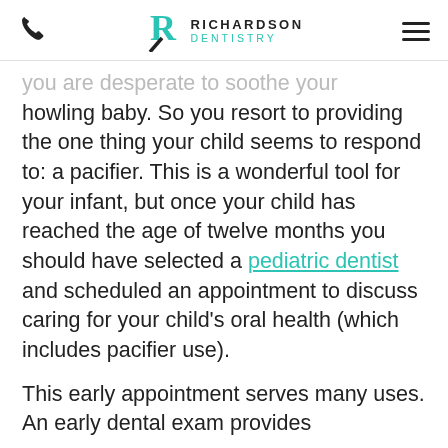Richardson Dentistry
you are desperate to soothe your howling baby. So you resort to providing the one thing your child seems to respond to: a pacifier. This is a wonderful tool for your infant, but once your child has reached the age of twelve months you should have selected a pediatric dentist and scheduled an appointment to discuss caring for your child's oral health (which includes pacifier use).
This early appointment serves many uses. An early dental exam provides